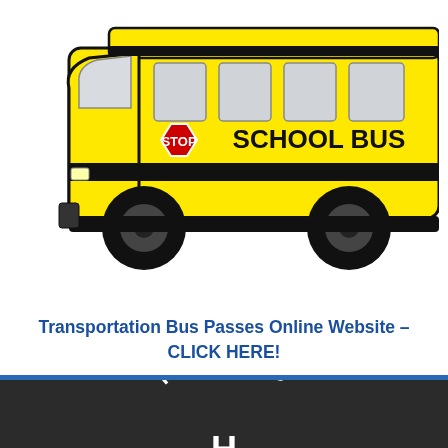[Figure (illustration): Clip art illustration of a yellow school bus viewed from the side, with black outlines, gray windows, a red STOP sign on the side, and 'SCHOOL BUS' text in bold black lettering on the body of the bus. Two large black tires with dark gray hubs are visible.]
Transportation Bus Passes Online Website – CLICK HERE!
[Figure (logo): Highland school logo: white arc text 'HIGHLAND' above a stylized 'H' letter on a dark/charcoal background.]